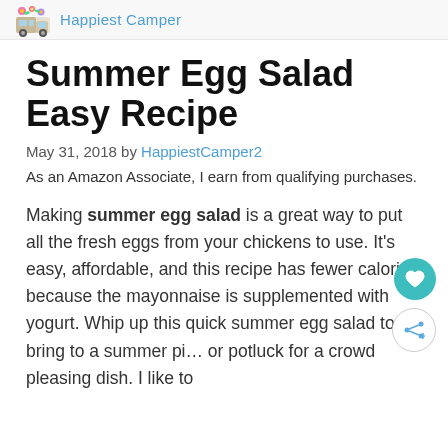Happiest Camper
Summer Egg Salad Easy Recipe
May 31, 2018 by HappiestCamper2
As an Amazon Associate, I earn from qualifying purchases.
Making summer egg salad is a great way to put all the fresh eggs from your chickens to use. It's easy, affordable, and this recipe has fewer calories because the mayonnaise is supplemented with yogurt. Whip up this quick summer egg salad to bring to a summer pi… or potluck for a crowd pleasing dish. I like to